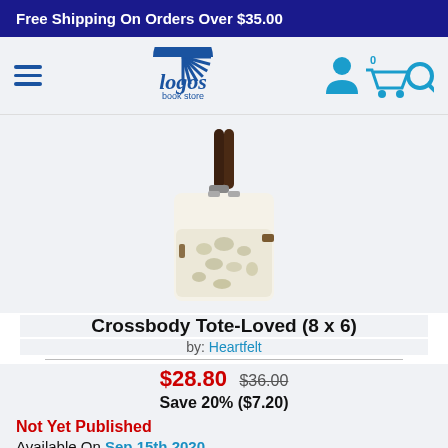Free Shipping On Orders Over $35.00
[Figure (logo): Logos Book Store logo with hamburger menu and navigation icons (person, cart with 0, search)]
[Figure (photo): Crossbody tote bag in cream/white color with floral pattern, brown leather strap, small size]
Crossbody Tote-Loved (8 x 6)
by: Heartfelt
$28.80 $36.00 Save 20% ($7.20)
Not Yet Published
Available On Sep 15th 2020